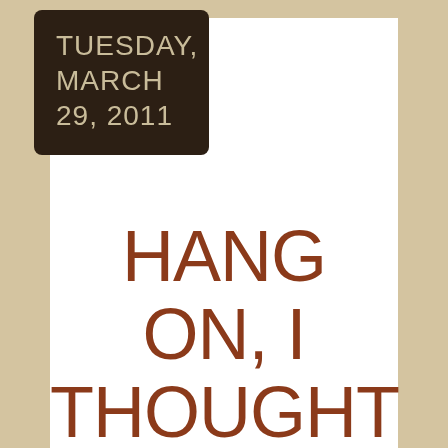TUESDAY, MARCH 29, 2011
HANG ON, I THOUGHT IF I